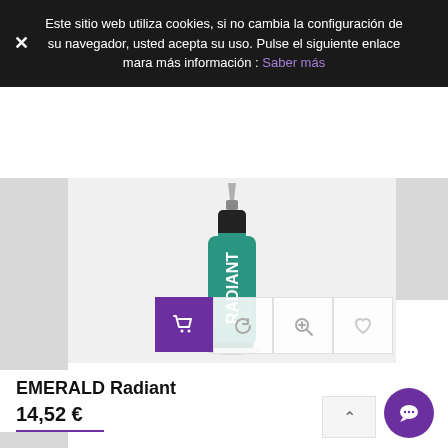Este sitio web utiliza cookies, si no cambia la configuración de su navegador, usted acepta su uso. Pulse el siguiente enlace mara más información : Saber más
[Figure (photo): A teal/green tattoo ink bottle with black cap and nozzle tip, white 'Radiant' logo text on the bottle, shown against a light grey background]
EMERALD Radiant
14,52 €